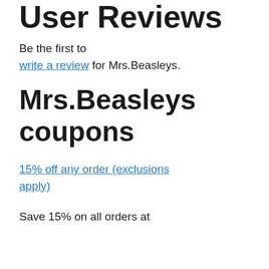User Reviews
Be the first to write a review for Mrs.Beasleys.
Mrs.Beasleys coupons
15% off any order (exclusions apply)
Save 15% on all orders at